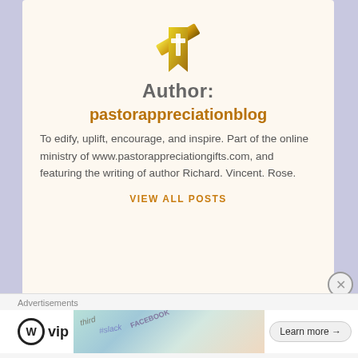[Figure (logo): Gold and yellow stylized cross/bookmark logo icon with a white cross symbol]
Author:
pastorappreciationblog
To edify, uplift, encourage, and inspire. Part of the online ministry of www.pastorappreciationgifts.com, and featuring the writing of author Richard. Vincent. Rose.
VIEW ALL POSTS
Advertisements